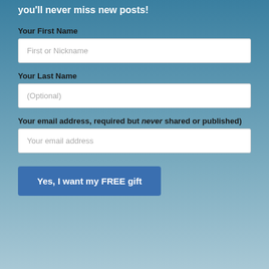you'll never miss new posts!
Your First Name
First or Nickname
Your Last Name
(Optional)
Your email address, required but never shared or published)
Your email address
Yes, I want my FREE gift